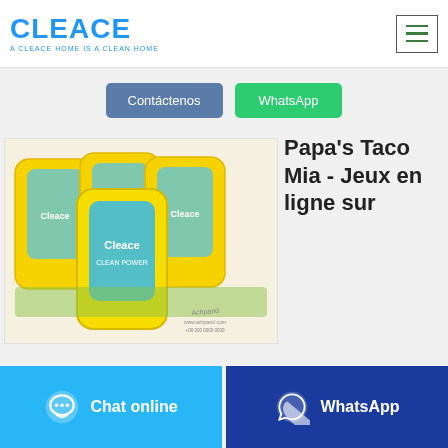[Figure (logo): CLEACE logo with tagline 'A CLEACE HOME IS A CLEAN HOME' in blue]
Contáctenos
WhatsApp
[Figure (photo): Multiple yellow Cleace brand product bags arranged together]
Papa's Taco Mia - Jeux en ligne sur
Chat online
WhatsApp